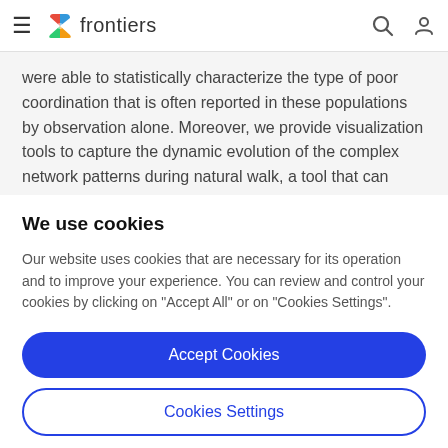frontiers
were able to statistically characterize the type of poor coordination that is often reported in these populations by observation alone. Moreover, we provide visualization tools to capture the dynamic evolution of the complex network patterns during natural walk, a tool that can serve
We use cookies
Our website uses cookies that are necessary for its operation and to improve your experience. You can review and control your cookies by clicking on "Accept All" or on "Cookies Settings".
Accept Cookies
Cookies Settings